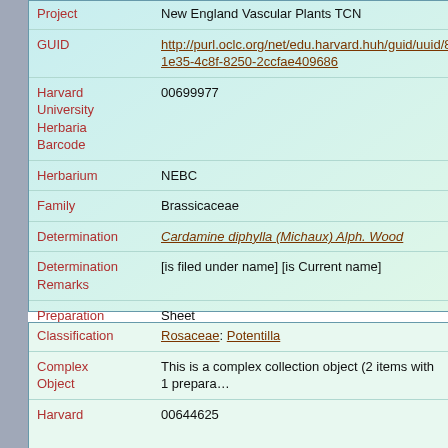| Field | Value |
| --- | --- |
| Project | New England Vascular Plants TCN |
| GUID | http://purl.oclc.org/net/edu.harvard.huh/guid/uuid/8c5...1e35-4c8f-8250-2ccfae409686 |
| Harvard University Herbaria Barcode | 00699977 |
| Herbarium | NEBC |
| Family | Brassicaceae |
| Determination | Cardamine diphylla (Michaux) Alph. Wood |
| Determination Remarks | [is filed under name] [is Current name] |
| Preparation Type | Sheet |
| Preparation Method | Pressed |
| Field | Value |
| --- | --- |
| Classification | Rosaceae: Potentilla |
| Complex Object | This is a complex collection object (2 items with 1 prepara... |
| Harvard | 00644625 |